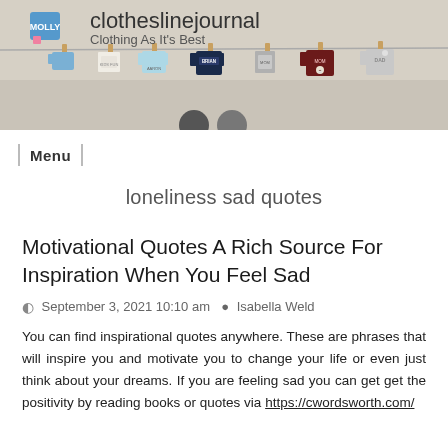[Figure (photo): Website banner for clotheslinejournal showing miniature clothing items hanging on a clothesline with clothespins against a light background. Text reads 'clotheslinejournal' and 'Clothing As It's Best'.]
Menu
loneliness sad quotes
Motivational Quotes A Rich Source For Inspiration When You Feel Sad
September 3, 2021 10:10 am  Isabella Weld
You can find inspirational quotes anywhere. These are phrases that will inspire you and motivate you to change your life or even just think about your dreams. If you are feeling sad you can get get the positivity by reading books or quotes via https://cwordsworth.com/